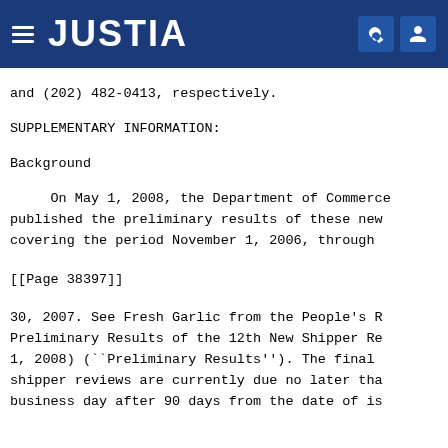JUSTIA
and (202) 482-0413, respectively.
SUPPLEMENTARY INFORMATION:
Background
On May 1, 2008, the Department of Commerce published the preliminary results of these new covering the period November 1, 2006, through
[[Page 38397]]
30, 2007. See Fresh Garlic from the People's R Preliminary Results of the 12th New Shipper Re 1, 2008) (``Preliminary Results''). The final shipper reviews are currently due no later tha business day after 90 days from the date of is